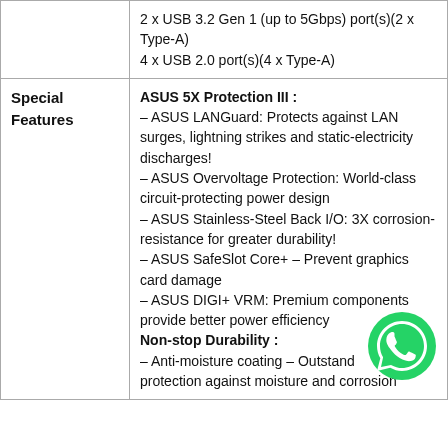| Feature | Description |
| --- | --- |
|  | 2 x USB 3.2 Gen 1 (up to 5Gbps) port(s)(2 x Type-A)
4 x USB 2.0 port(s)(4 x Type-A) |
| Special Features | ASUS 5X Protection III :
– ASUS LANGuard: Protects against LAN surges, lightning strikes and static-electricity discharges!
– ASUS Overvoltage Protection: World-class circuit-protecting power design
– ASUS Stainless-Steel Back I/O: 3X corrosion-resistance for greater durability!
– ASUS SafeSlot Core+ – Prevent graphics card damage
– ASUS DIGI+ VRM: Premium components provide better power efficiency
Non-stop Durability :
– Anti-moisture coating – Outstanding protection against moisture and corrosion |